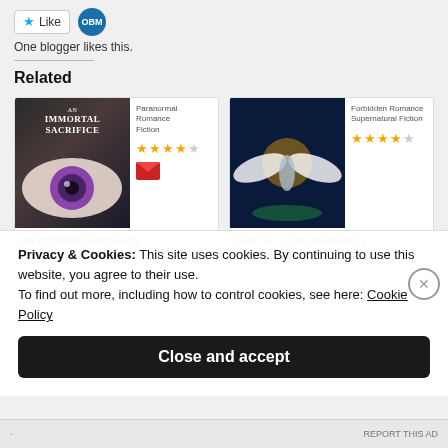[Figure (screenshot): Like button with star icon and OBM avatar circle]
One blogger likes this.
Related
[Figure (illustration): Book card: An Immortal Sacrifice - book cover showing a purple eye, genre: Paranormal Romance Fiction, 4 stars rating, email icon]
[Figure (illustration): Book card: First Sin - The Manifest - book cover showing an angel figure, genre: Forbidden Romance Supernatural Fiction, 4 stars rating]
An Immortal Sacrifice by Denise Summers
First Sin – The Manifest by Ellen Hunter
Privacy & Cookies: This site uses cookies. By continuing to use this website, you agree to their use.
To find out more, including how to control cookies, see here: Cookie Policy
Close and accept